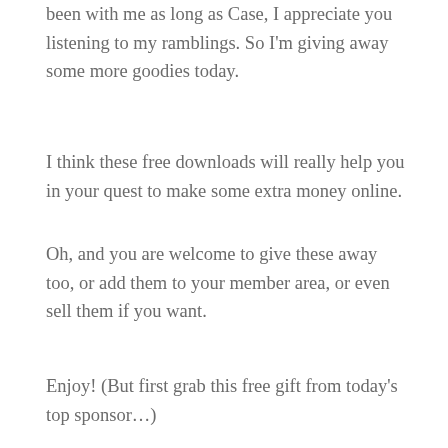been with me as long as Case, I appreciate you listening to my ramblings. So I'm giving away some more goodies today.
I think these free downloads will really help you in your quest to make some extra money online.
Oh, and you are welcome to give these away too, or add them to your member area, or even sell them if you want.
Enjoy! (But first grab this free gift from today's top sponsor…)